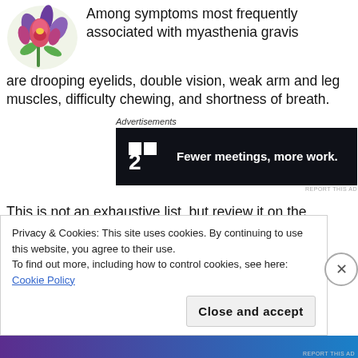Among symptoms most frequently associated with myasthenia gravis are drooping eyelids, double vision, weak arm and leg muscles, difficulty chewing, and shortness of breath.
[Figure (illustration): Colorful flower illustration (iris/orchid with pink and purple blooms) in top left corner]
Advertisements
[Figure (screenshot): Dark advertisement banner for a product showing logo '::2' and tagline 'Fewer meetings, more work.']
This is not an exhaustive list, but review it on the
Privacy & Cookies: This site uses cookies. By continuing to use this website, you agree to their use.
To find out more, including how to control cookies, see here: Cookie Policy